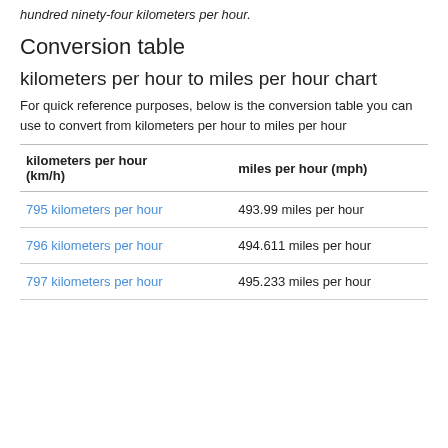hundred ninety-four kilometers per hour.
Conversion table
kilometers per hour to miles per hour chart
For quick reference purposes, below is the conversion table you can use to convert from kilometers per hour to miles per hour
| kilometers per hour (km/h) | miles per hour (mph) |
| --- | --- |
| 795 kilometers per hour | 493.99 miles per hour |
| 796 kilometers per hour | 494.611 miles per hour |
| 797 kilometers per hour | 495.233 miles per hour |